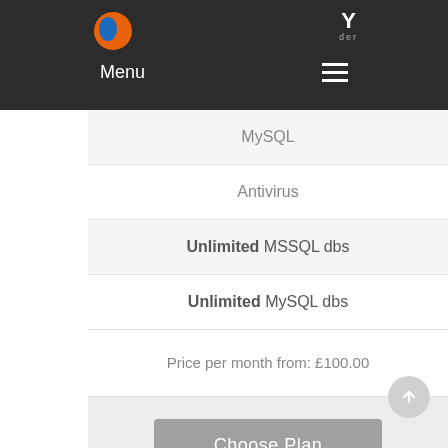Menu
MySQL
Antivirus
Unlimited MSSQL dbs
Unlimited MySQL dbs
Price per month from: £100.00
Choose Plan